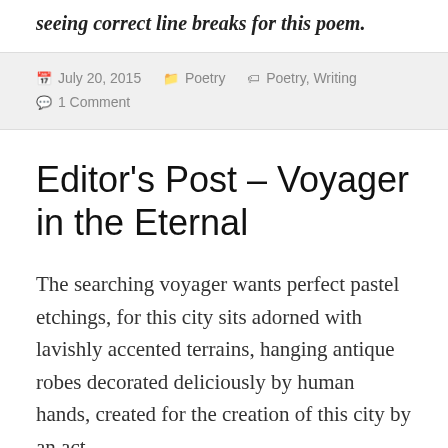seeing correct line breaks for this poem.
July 20, 2015   Poetry   Poetry, Writing   1 Comment
Editor's Post – Voyager in the Eternal
The searching voyager wants perfect pastel etchings, for this city sits adorned with lavishly accented terrains, hanging antique robes decorated deliciously by human hands, created for the creation of this city by an act